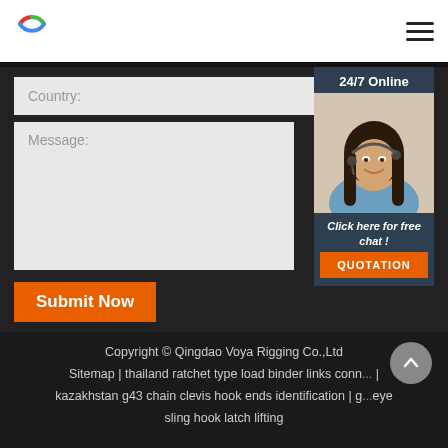[Figure (logo): Circular logo with red-green-blue arc segments]
[Figure (illustration): Hamburger menu icon (three horizontal lines)]
Country:
Message:
[Figure (photo): 24/7 Online chat widget showing a smiling woman with headset. Text: 'Click here for free chat!' and 'QUOTATION' button.]
Submit Now
Copyright © Qingdao Voya Rigging Co.,Ltd
Sitemap | thailand ratchet type load binder links conn... | kazakhstan g43 chain clevis hook ends identification | g... eye sling hook latch lifting